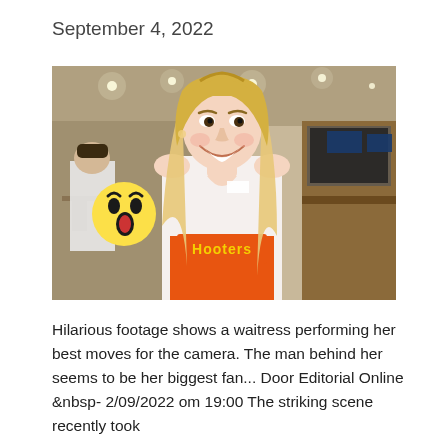September 4, 2022
[Figure (photo): A smiling blonde woman in a Hooters-style uniform inside a bar/restaurant. There is a surprised face emoji overlaid on the left side of the image. In the background, a man in a white t-shirt is visible along with bar seating and TV screens.]
Hilarious footage shows a waitress performing her best moves for the camera. The man behind her seems to be her biggest fan... Door Editorial Online &nbsp- 2/09/2022 om 19:00 The striking scene recently took